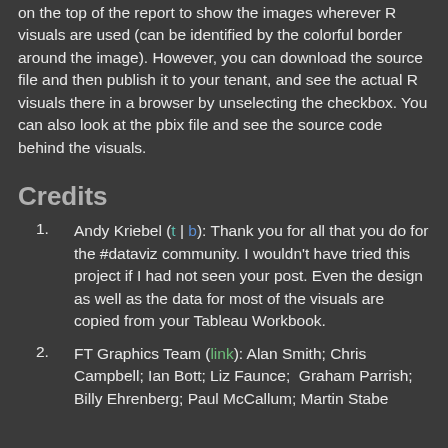on the top of the report to show the images wherever R visuals are used (can be identified by the colorful border around the image). However, you can download the source file and then publish it to your tenant, and see the actual R visuals there in a browser by unselecting the checkbox. You can also look at the pbix file and see the source code behind the visuals.
Credits
Andy Kriebel (t | b): Thank you for all that you do for the #dataviz community. I wouldn't have tried this project if I had not seen your post. Even the design as well as the data for most of the visuals are copied from your Tableau Workbook.
FT Graphics Team (link): Alan Smith; Chris Campbell; Ian Bott; Liz Faunce; Graham Parrish; Billy Ehrenberg; Paul McCallum; Martin Stabe